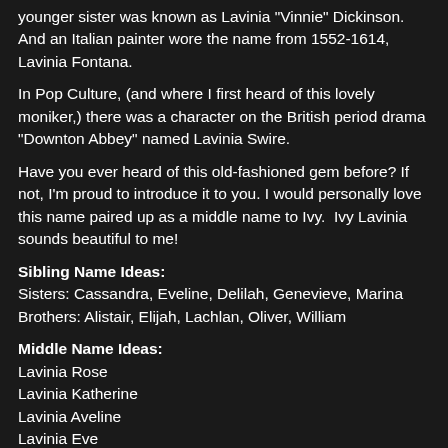younger sister was known as Lavinia "Vinnie" Dickinson. And an Italian painter wore the name from 1552-1614, Lavinia Fontana.
In Pop Culture, (and where I first heard of this lovely moniker,) there was a character on the British period drama "Downton Abbey" named Lavinia Swire.
Have you ever heard of this old-fashioned gem before? If not, I'm proud to introduce it to you. I would personally love this name paired up as a middle name to Ivy.  Ivy Lavinia sounds beautiful to me!
Sibling Name Ideas:
Sisters: Cassandra, Eveline, Delilah, Genevieve, Marina
Brothers: Alistair, Elijah, Lachlan, Oliver, William
Middle Name Ideas:
Lavinia Rose
Lavinia Katherine
Lavinia Aveline
Lavinia Eve